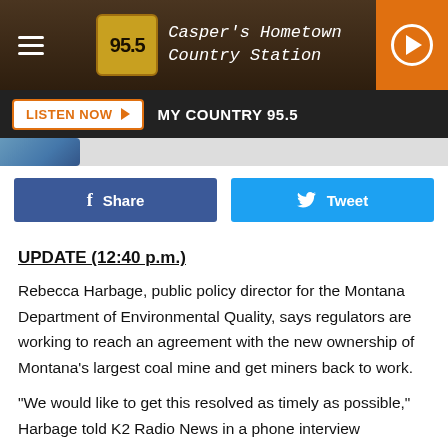95.5 My Country — Casper's Hometown Country Station
[Figure (screenshot): Radio station header bar with hamburger menu, 95.5 logo badge, station name 'Casper's Hometown Country Station', and orange play button]
[Figure (screenshot): Listen Now button bar with 'LISTEN NOW' orange button and 'MY COUNTRY 95.5' label on dark background]
[Figure (screenshot): Partial image strip at top of article]
[Figure (screenshot): Facebook Share and Twitter Tweet social sharing buttons]
UPDATE (12:40 p.m.)
Rebecca Harbage, public policy director for the Montana Department of Environmental Quality, says regulators are working to reach an agreement with the new ownership of Montana's largest coal mine and get miners back to work.
"We would like to get this resolved as timely as possible," Harbage told K2 Radio News in a phone interview Thursday. The parties were working toward a resolution in an ongoing meeting shortly after 12 p.m., she added.